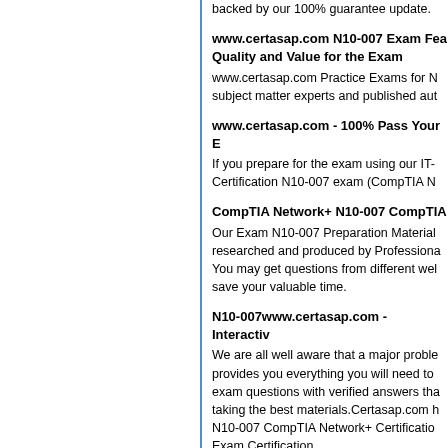backed by our 100% guarantee update.
www.certasap.com N10-007 Exam Fea Quality and Value for the Exam
www.certasap.com Practice Exams for N subject matter experts and published aut
www.certasap.com - 100% Pass Your E
If you prepare for the exam using our IT- Certification N10-007 exam (CompTIA N
CompTIA Network+ N10-007 CompTIA
Our Exam N10-007 Preparation Material researched and produced by Professiona You may get questions from different wel save your valuable time.
N10-007www.certasap.com - Interactiv
We are all well aware that a major proble provides you everything you will need to exam questions with verified answers tha taking the best materials.Certasap.com h N10-007 CompTIA Network+ Certificatio Exam Certification.